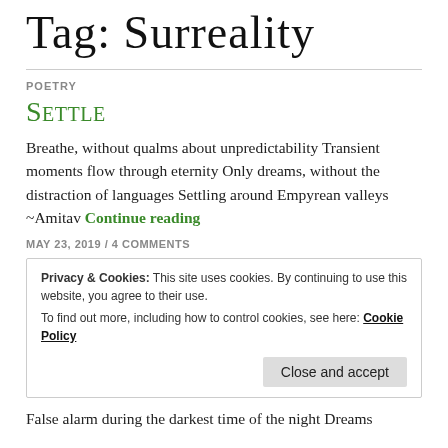Tag: Surreality
POETRY
SETTLE
Breathe, without qualms about unpredictability Transient moments flow through eternity Only dreams, without the distraction of languages Settling around Empyrean valleys ~Amitav Continue reading
MAY 23, 2019 / 4 COMMENTS
Privacy & Cookies: This site uses cookies. By continuing to use this website, you agree to their use.
To find out more, including how to control cookies, see here: Cookie Policy
Close and accept
False alarm during the darkest time of the night Dreams